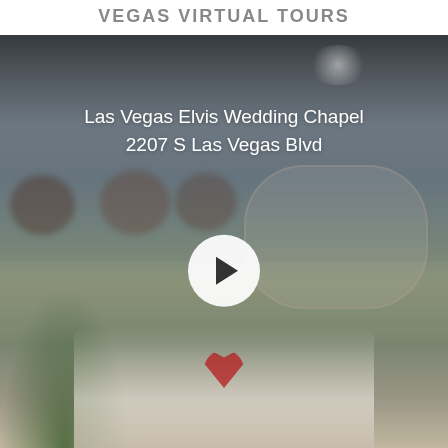VEGAS VIRTUAL TOURS
[Figure (photo): Virtual tour thumbnail of Las Vegas Elvis Wedding Chapel at 2207 S Las Vegas Blvd, showing chapel interior with heart wreaths, wall frames, white chairs, green plant, and a play button overlay. Text overlay reads 'Las Vegas Elvis Wedding Chapel 2207 S Las Vegas Blvd'.]